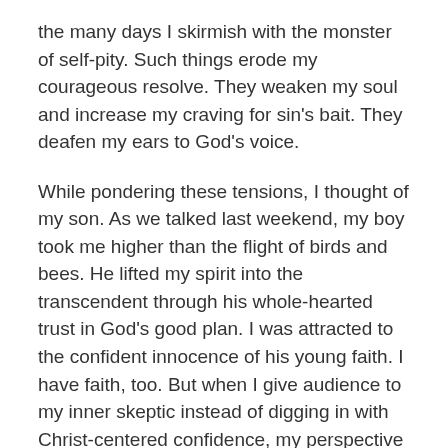the many days I skirmish with the monster of self-pity. Such things erode my courageous resolve. They weaken my soul and increase my craving for sin's bait. They deafen my ears to God's voice.
While pondering these tensions, I thought of my son. As we talked last weekend, my boy took me higher than the flight of birds and bees. He lifted my spirit into the transcendent through his whole-hearted trust in God's good plan. I was attracted to the confident innocence of his young faith. I have faith, too. But when I give audience to my inner skeptic instead of digging in with Christ-centered confidence, my perspective gets jaded. I speculate and assume as my foundation of faith shifts from God to my own limited reality.
My heart yearns for a deeper, more radically-trusting